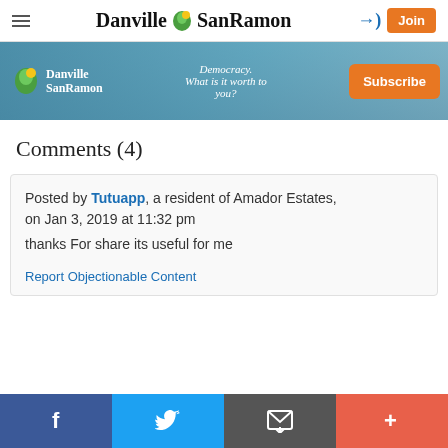Danville SanRamon
[Figure (infographic): Danville SanRamon subscription banner ad with tagline 'Democracy. What is it worth to you?' and Subscribe button]
Comments (4)
Posted by Tutuapp, a resident of Amador Estates, on Jan 3, 2019 at 11:32 pm
thanks For share its useful for me
Report Objectionable Content
f  Twitter  Email  +